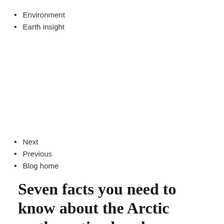Environment
Earth insight
Next
Previous
Blog home
Seven facts you need to know about the Arctic methane timebomb
Dismissals of catastrophic methane danger ignore robust science in favour of outdated mythology of climate safety